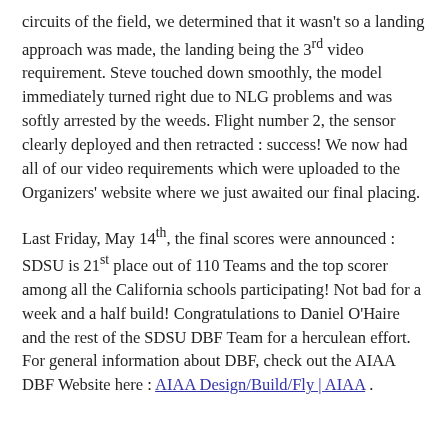circuits of the field, we determined that it wasn't so a landing approach was made, the landing being the 3rd video requirement. Steve touched down smoothly, the model immediately turned right due to NLG problems and was softly arrested by the weeds. Flight number 2, the sensor clearly deployed and then retracted : success! We now had all of our video requirements which were uploaded to the Organizers' website where we just awaited our final placing.
Last Friday, May 14th, the final scores were announced : SDSU is 21st place out of 110 Teams and the top scorer among all the California schools participating! Not bad for a week and a half build! Congratulations to Daniel O'Haire and the rest of the SDSU DBF Team for a herculean effort. For general information about DBF, check out the AIAA DBF Website here : AIAA Design/Build/Fly | AIAA .